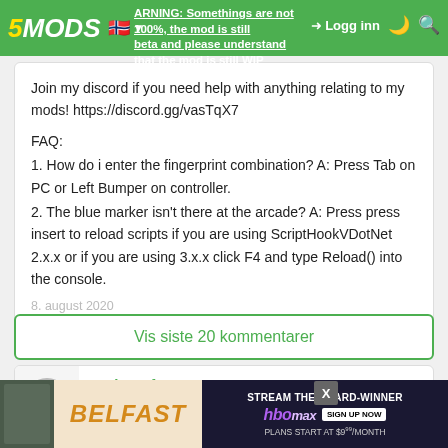5MODS | WARNING: Somethings are not 100%, the mod is still beta and please understand that the mod is still WIP | Logg inn
Join my discord if you need help with anything relating to my mods! https://discord.gg/vasTqX7

FAQ:
1. How do i enter the fingerprint combination? A: Press Tab on PC or Left Bumper on controller.
2. The blue marker isn't there at the arcade? A: Press press insert to reload scripts if you are using ScriptHookVDotNet 2.x.x or if you are using 3.x.x click F4 and type Reload() into the console.
8. august 2020
Vis siste 20 kommentarer
rockstarfan_101
does this still work?
25. juni 2021
[Figure (infographic): Advertisement banner: Belfast movie / HBO Max - Stream The Award-Winner, Sign Up Now, Plans Start At $9/month]